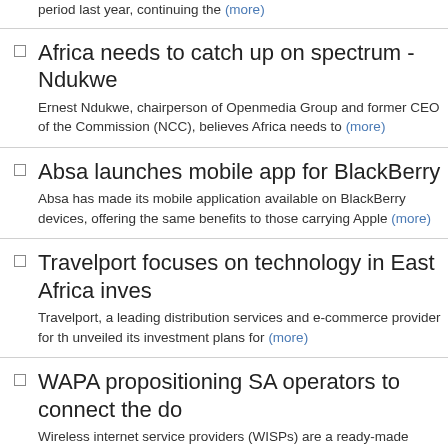period last year, continuing the (more)
Africa needs to catch up on spectrum - Ndukwe
Ernest Ndukwe, chairperson of Openmedia Group and former CEO of the Commission (NCC), believes Africa needs to (more)
Absa launches mobile app for BlackBerry
Absa has made its mobile application available on BlackBerry devices, offering the same benefits to those carrying Apple (more)
Travelport focuses on technology in East Africa inves...
Travelport, a leading distribution services and e-commerce provider for th... unveiled its investment plans for (more)
WAPA propositioning SA operators to connect the do...
Wireless internet service providers (WISPs) are a ready-made solution to... country up to high-speed web access, if (more)
Kinetic partners with ICT board for Kenya IT Week
International business-to-business conferencing firm Kinetic has partnere... Kenya Information Technology and (more)